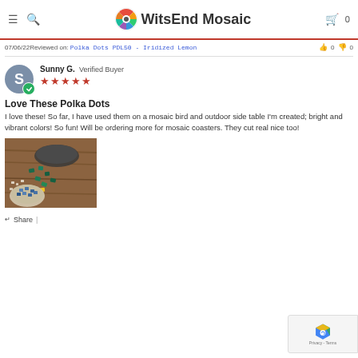WitsEnd Mosaic
07/06/22 Reviewed on: Polka Dots PDL50 - Iridized Lemon
Sunny G. Verified Buyer
★★★★★
Love These Polka Dots
I love these! So far, I have used them on a mosaic bird and outdoor side table I'm created; bright and vibrant colors! So fun! Will be ordering more for mosaic coasters. They cut real nice too!
[Figure (photo): Photo of mosaic tiles and supplies on a wooden surface, including colorful glass pieces and a mosaic work in progress]
Share |